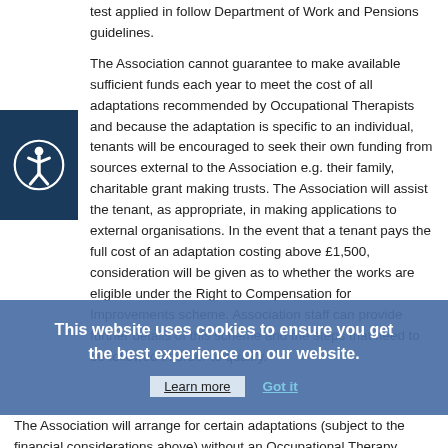test applied in follow Department of Work and Pensions guidelines.
The Association cannot guarantee to make available sufficient funds each year to meet the cost of all adaptations recommended by Occupational Therapists and because the adaptation is specific to an individual, tenants will be encouraged to seek their own funding from sources external to the Association e.g. their family, charitable grant making trusts. The Association will assist the tenant, as appropriate, in making applications to external organisations. In the event that a tenant pays the full cost of an adaptation costing above £1,500, consideration will be given as to whether the works are eligible under the Right to Compensation for Improvements scheme. Association staff can provide further details of this scheme and the steps that need to be followed in order to qualify.
The Association will arrange for certain adaptations (subject to the financial considerations above) without an Occupational Therapy Assessment, namely 'flashing doorbells' for tenants who are hard of hearing and handheld releases for the door entry system for tenants who have mobility problems and who would not be able otherwise to grant access to visitors/carers.
The Association will not install grab rails unless on the express,